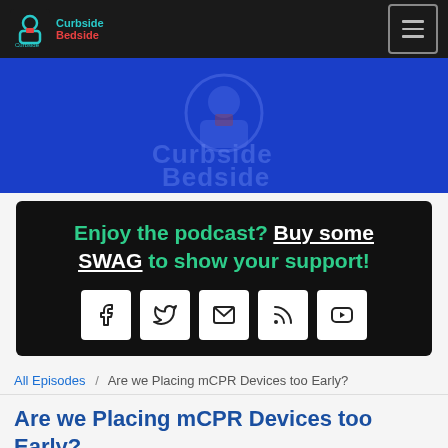Curbside Bedside
[Figure (illustration): Blue banner with watermark logo of Curbside Bedside]
Enjoy the podcast? Buy some SWAG to show your support!
[Figure (infographic): Social media icon buttons: Facebook, Twitter, Email, RSS, YouTube]
All Episodes / Are we Placing mCPR Devices too Early?
Are we Placing mCPR Devices too Early?